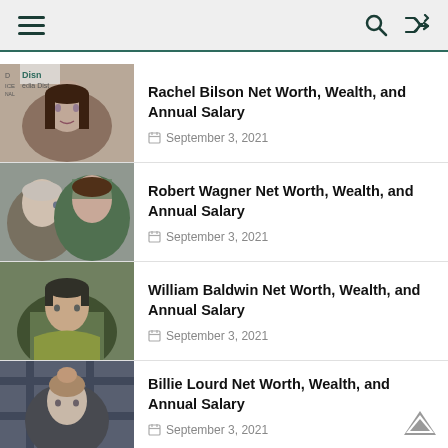Navigation header with menu, search, and shuffle icons
[Figure (photo): Photo of Rachel Bilson at Disney event]
Rachel Bilson Net Worth, Wealth, and Annual Salary
September 3, 2021
[Figure (photo): Photo of Robert Wagner and woman]
Robert Wagner Net Worth, Wealth, and Annual Salary
September 3, 2021
[Figure (photo): Photo of William Baldwin outdoors]
William Baldwin Net Worth, Wealth, and Annual Salary
September 3, 2021
[Figure (photo): Photo of Billie Lourd]
Billie Lourd Net Worth, Wealth, and Annual Salary
September 3, 2021